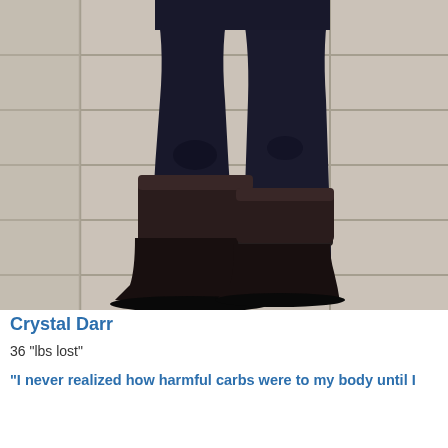[Figure (photo): Photo showing the lower body/legs of a person wearing dark jeans and black boots, standing on a beige/cream tiled floor. Only the legs and feet are visible.]
Crystal Darr
36 "lbs lost"
“I never realized how harmful carbs were to my body until I